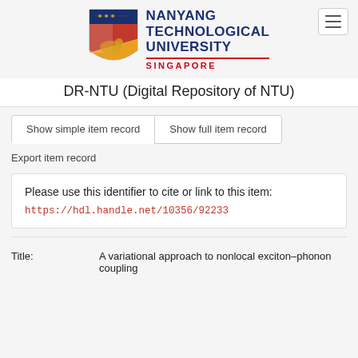[Figure (logo): Nanyang Technological University Singapore logo with shield and text]
DR-NTU (Digital Repository of NTU)
Show simple item record
Show full item record
Export item record
Please use this identifier to cite or link to this item: https://hdl.handle.net/10356/92233
| Field | Value |
| --- | --- |
| Title: | A variational approach to nonlocal exciton–phonon coupling |